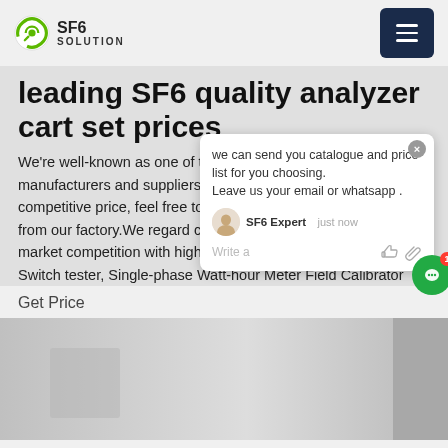SF6 SOLUTION
leading SF6 quality analyzer cart set prices
We're well-known as one of the leading SF6 gas analyst manufacturers and suppliers. Due to our quality products and competitive price, feel free to wholesale bulk SF6 gas cart here from our factory.We regard customers as our own, participate in market competition with high-quality Transformer On-load Switch tester, Single-phase Watt-hour Meter Field Calibrator
[Figure (screenshot): Chat popup widget showing message: 'we can send you catalogue and price list for you choosing. Leave us your email or whatsapp .' with SF6 Expert agent listed as 'just now', and a green chat bubble button with badge showing 1]
Get Price
[Figure (photo): Partial product photo with grey background, showing equipment at the bottom of the page]